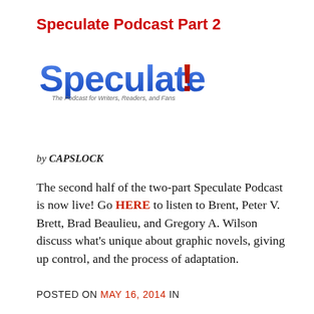Speculate Podcast Part 2
[Figure (logo): Speculate! podcast logo — bold blue stylized text reading 'Speculate!' with tagline 'The Podcast for Writers, Readers, and Fans' below in smaller grey italic text]
by CAPSLOCK
The second half of the two-part Speculate Podcast is now live! Go HERE to listen to Brent, Peter V. Brett, Brad Beaulieu, and Gregory A. Wilson discuss what's unique about graphic novels, giving up control, and the process of adaptation.
POSTED ON MAY 16, 2014 IN